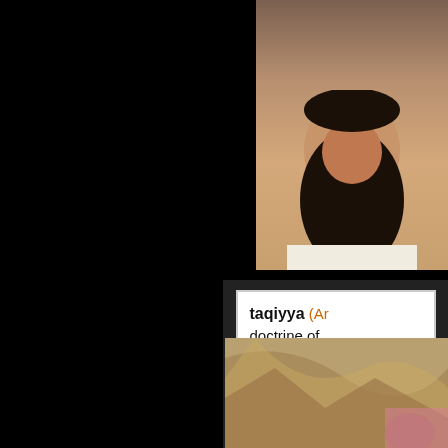[Figure (photo): Partial photo of a person with a dark beard wearing a light-colored garment, cropped at the top right of the page]
[Figure (screenshot): Dictionary definition entry showing 'taqiyya (Ar...' in bold followed by partial text: 'doctrine of ... permitted u... the trust of ... their vulner...']
[Figure (photo): Partial photo at the bottom right showing fabric or clothing in warm brown tones]